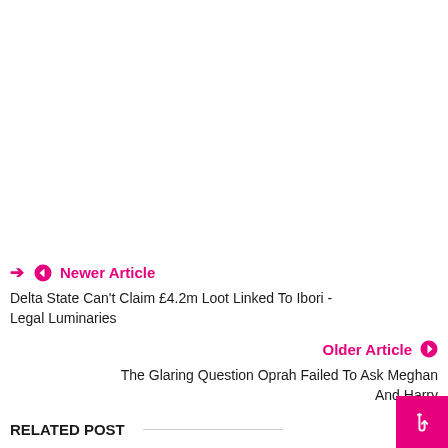❮ Newer Article
Delta State Can't Claim £4.2m Loot Linked To Ibori - Legal Luminaries
Older Article ❯
The Glaring Question Oprah Failed To Ask Meghan And Harry
RELATED POST